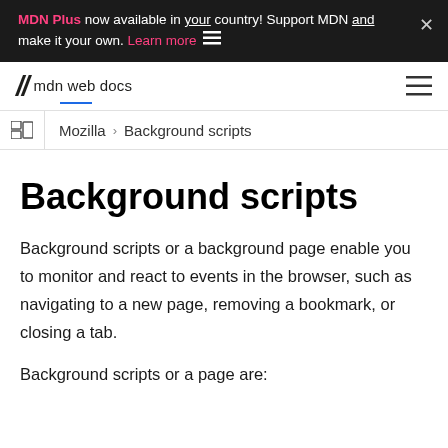MDN Plus now available in your country! Support MDN and make it your own. Learn more
mdn web docs
Mozilla > Background scripts
Background scripts
Background scripts or a background page enable you to monitor and react to events in the browser, such as navigating to a new page, removing a bookmark, or closing a tab.
Background scripts or a page are: